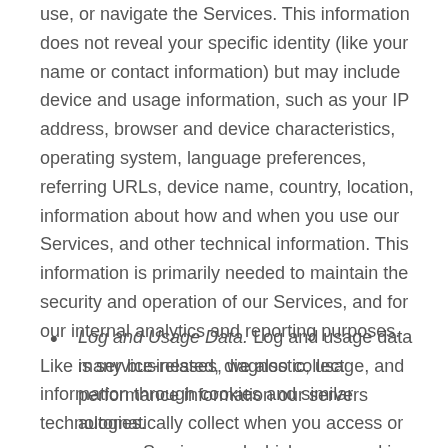use, or navigate the Services. This information does not reveal your specific identity (like your name or contact information) but may include device and usage information, such as your IP address, browser and device characteristics, operating system, language preferences, referring URLs, device name, country, location, information about how and when you use our Services, and other technical information. This information is primarily needed to maintain the security and operation of our Services, and for our internal analytics and reporting purposes.
Like many businesses, we also collect information through cookies and similar technologies.
The information we collect includes:
Log and Usage Data. Log and usage data is service-related, diagnostic, usage, and performance information our servers automatically collect when you access or use our Services and which we record in log files. Depending on how you interact with us, this log data